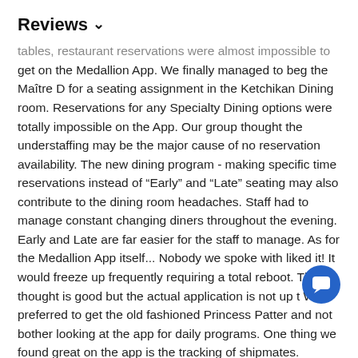Reviews ∨
tables, restaurant reservations were almost impossible to get on the Medallion App. We finally managed to beg the Maître D for a seating assignment in the Ketchikan Dining room. Reservations for any Specialty Dining options were totally impossible on the App. Our group thought the understaffing may be the major cause of no reservation availability. The new dining program - making specific time reservations instead of "Early" and "Late" seating may also contribute to the dining room headaches. Staff had to manage constant changing diners throughout the evening. Early and Late are far easier for the staff to manage. As for the Medallion App itself... Nobody we spoke with liked it! It would freeze up frequently requiring a total reboot. The thought is good but the actual application is not up t We preferred to get the old fashioned Princess Patter and not bother looking at the app for daily programs. One thing we found great on the app is the tracking of shipmates.